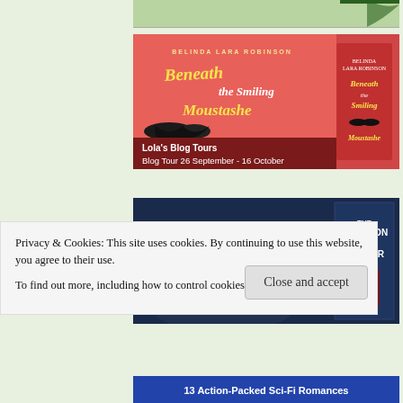[Figure (illustration): Partial top banner image, light green, partially visible]
[Figure (illustration): Book tour banner for 'Beneath the Smiling Moustache' by Belinda Lara Robinson. Salmon/coral pink background with yellow handwritten title, mustache graphics, dark red footer with 'Lola's Blog Tours' and 'Blog Tour 26 September – 16 October'. Book cover shown on right.]
[Figure (illustration): Book banner for 'The Question is Murder' by Mark Willen. Dark blue/navy background with large bold white text for title, golden/yellow author name. Book cover shown on right.]
Privacy & Cookies: This site uses cookies. By continuing to use this website, you agree to their use.
To find out more, including how to control cookies, see here: Privacy Policy
[Figure (illustration): Partial bottom banner: '13 Action-Packed Sci-Fi Romances' — partially visible at bottom of page]